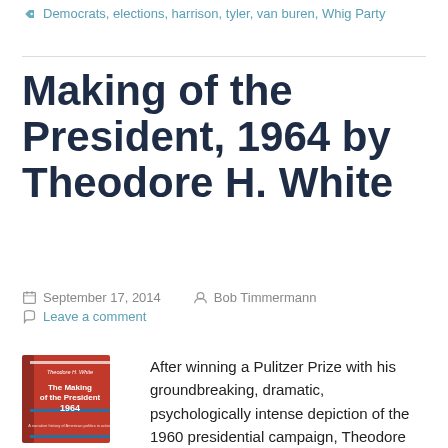Democrats, elections, harrison, tyler, van buren, Whig Party
Making of the President, 1964 by Theodore H. White
September 17, 2014   Bob Timmermann
Leave a comment
[Figure (photo): Book cover of 'The Making of the President 1964' by Theodore H. White, showing a red hardcover book]
After winning a Pulitzer Prize with his groundbreaking, dramatic, psychologically intense depiction of the 1960 presidential campaign, Theodore White tried it again in 1964. But, this